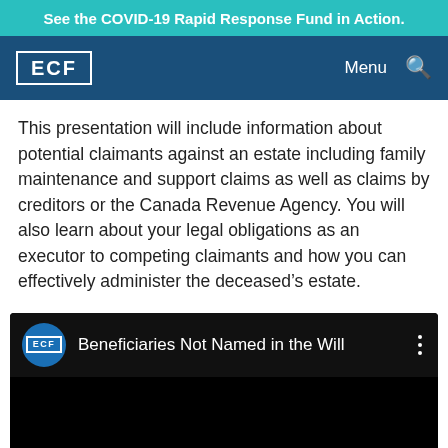See the COVID-19 Rapid Response Fund in Action.
[Figure (logo): ECF logo with navigation bar showing Menu and search icon on dark blue background]
This presentation will include information about potential claimants against an estate including family maintenance and support claims as well as claims by creditors or the Canada Revenue Agency. You will also learn about your legal obligations as an executor to competing claimants and how you can effectively administer the deceased’s estate.
[Figure (screenshot): YouTube-style video embed showing ECF logo in blue circle and title 'Beneficiaries Not Named in the Will' on black background]